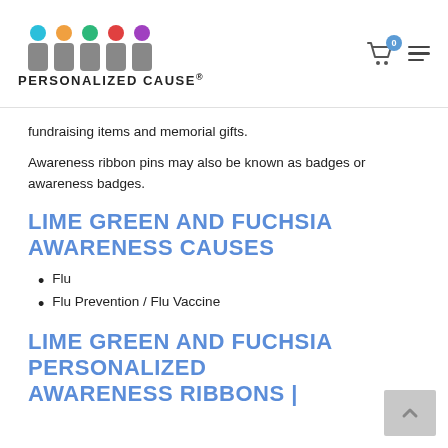PERSONALIZED CAUSE
fundraising items and memorial gifts.
Awareness ribbon pins may also be known as badges or awareness badges.
LIME GREEN AND FUCHSIA AWARENESS CAUSES
Flu
Flu Prevention / Flu Vaccine
LIME GREEN AND FUCHSIA PERSONALIZED AWARENESS RIBBONS |